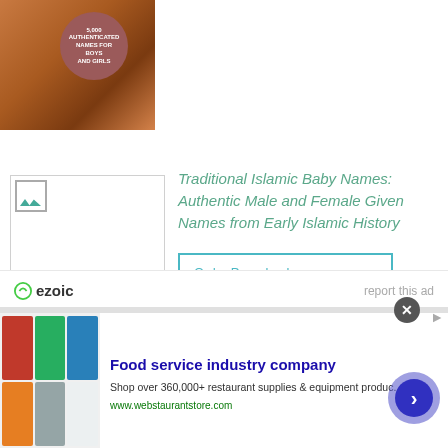[Figure (photo): Book cover with canyon landscape and circular badge reading 5,000 Authenticated Names for Boys and Girls]
[Figure (photo): Broken image placeholder for Traditional Islamic Baby Names book cover]
Traditional Islamic Baby Names: Authentic Male and Female Given Names from Early Islamic History
Order Paperback
Order Kindle Ebook
ezoic   report this ad
Food service industry company
Shop over 360,000+ restaurant supplies & equipment produc...
www.webstaurantstore.com